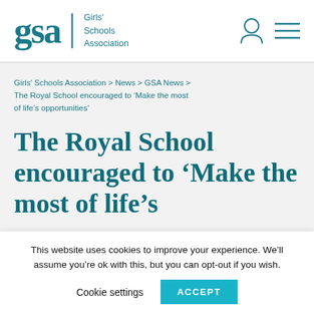[Figure (logo): GSA Girls' Schools Association logo with stylized 'gsa' text and person/menu icons in teal]
Girls' Schools Association > News > GSA News > The Royal School encouraged to ‘Make the most of life’s opportunities’
The Royal School encouraged to ‘Make the most of life’s
This website uses cookies to improve your experience. We’ll assume you’re ok with this, but you can opt-out if you wish.
Cookie settings   ACCEPT